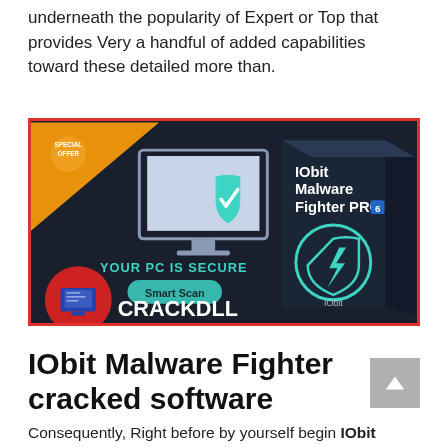underneath the popularity of Expert or Top that provides Very a handful of added capabilities toward these detailed more than.
[Figure (screenshot): IObit Malware Fighter PRO 6 advertisement image showing a dark background with a computer monitor and shield icon, text 'YOUR PC IS SECURE', a 'Smart Scan' button, a 'CRACKDLL' logo in the bottom left, and a product box on the right side. An orange 'SPECIAL OFFER' triangle badge is in the top left corner.]
IObit Malware Fighter cracked software
Consequently, Right before by yourself begin IObit